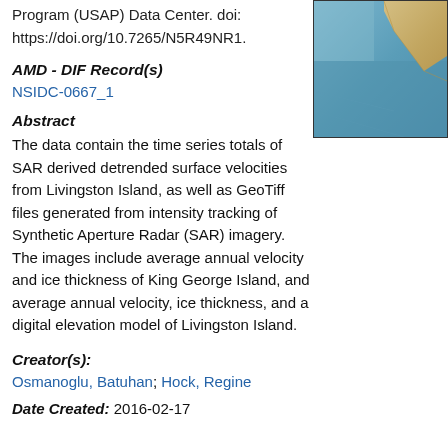Program (USAP) Data Center. doi: https://doi.org/10.7265/N5R49NR1.
[Figure (map): Satellite or map image showing coastline with blue ocean and tan/yellow land area in upper right corner]
AMD - DIF Record(s)
NSIDC-0667_1
Abstract
The data contain the time series totals of SAR derived detrended surface velocities from Livingston Island, as well as GeoTiff files generated from intensity tracking of Synthetic Aperture Radar (SAR) imagery. The images include average annual velocity and ice thickness of King George Island, and average annual velocity, ice thickness, and a digital elevation model of Livingston Island.
Creator(s):
Osmanoglu, Batuhan; Hock, Regine
Date Created: 2016-02-17